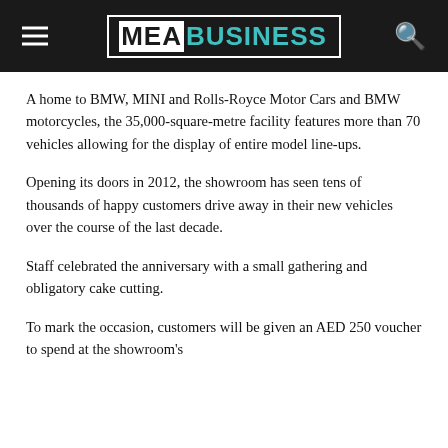MEA BUSINESS
A home to BMW, MINI and Rolls-Royce Motor Cars and BMW motorcycles, the 35,000-square-metre facility features more than 70 vehicles allowing for the display of entire model line-ups.
Opening its doors in 2012, the showroom has seen tens of thousands of happy customers drive away in their new vehicles over the course of the last decade.
Staff celebrated the anniversary with a small gathering and obligatory cake cutting.
To mark the occasion, customers will be given an AED 250 voucher to spend at the showroom's